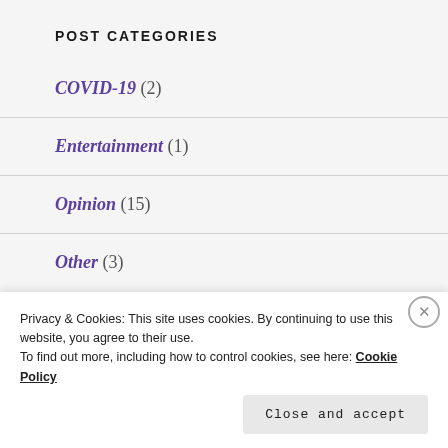POST CATEGORIES
COVID-19 (2)
Entertainment (1)
Opinion (15)
Other (3)
Privacy & Cookies: This site uses cookies. By continuing to use this website, you agree to their use.
To find out more, including how to control cookies, see here: Cookie Policy
Close and accept